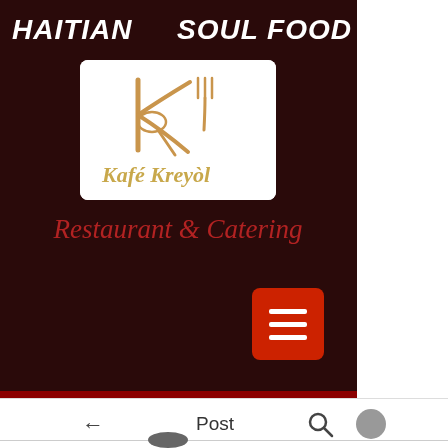HAITIAN   SOUL FOOD
[Figure (logo): Kafé Kreyòl logo — stylized K with fork and spoon, golden script text reading Kafé Kreyòl on white background]
Restaurant & Catering
[Figure (other): Red hamburger/menu button with three white horizontal bars]
Post
[Figure (other): Partial circular avatar visible at very bottom of page]